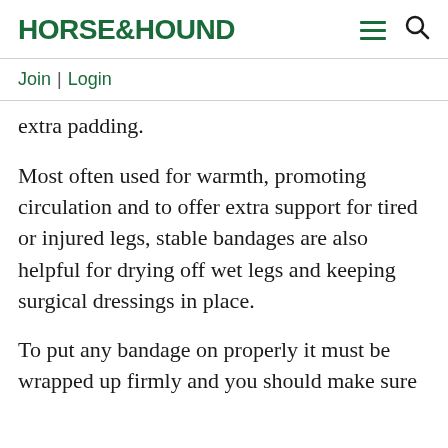HORSE&HOUND
Join | Login
extra padding.
Most often used for warmth, promoting circulation and to offer extra support for tired or injured legs, stable bandages are also helpful for drying off wet legs and keeping surgical dressings in place.
To put any bandage on properly it must be wrapped up firmly and you should make sure